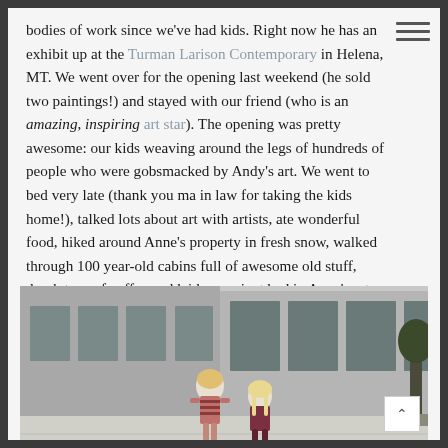bodies of work since we've had kids. Right now he has an exhibit up at the Turman Larison Contemporary in Helena, MT. We went over for the opening last weekend (he sold two paintings!) and stayed with our friend (who is an amazing, inspiring art star). The opening was pretty awesome: our kids weaving around the legs of hundreds of people who were gobsmacked by Andy's art. We went to bed very late (thank you ma in law for taking the kids home!), talked lots about art with artists, ate wonderful food, hiked around Anne's property in fresh snow, walked through 100 year-old cabins full of awesome old stuff, drank tons of coffee and laid on a giant bed in Anne's art studio.
[Figure (photo): Two young girls walking along a city sidewalk in front of stone and glass buildings. One girl wears a striped top, the other wears dark clothing. Urban street scene, appears to be downtown area.]